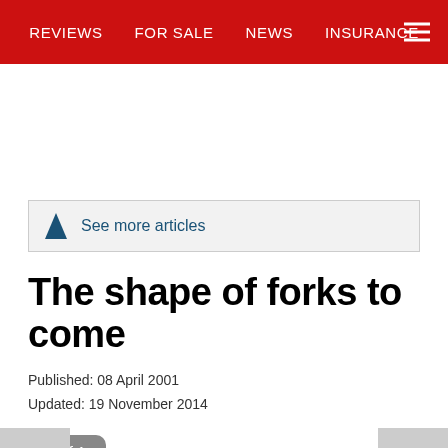REVIEWS   FOR SALE   NEWS   INSURANCE
See more articles
The shape of forks to come
Published: 08 April 2001
Updated: 19 November 2014
1 of 1